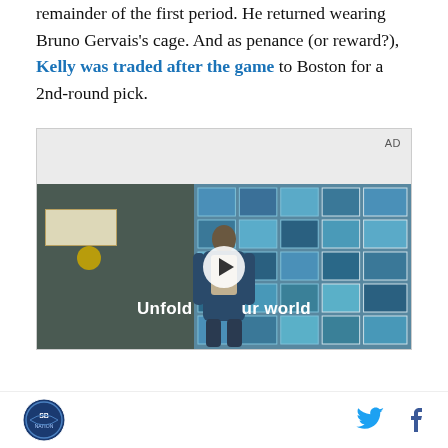remainder of the first period. He returned wearing Bruno Gervais's cage. And as penance (or reward?), Kelly was traded after the game to Boston for a 2nd-round pick.
[Figure (screenshot): Video advertisement showing a young man in a denim jacket standing in front of a tiled wall, with text 'Unfold your world' and a play button overlay. AD label in top right corner.]
Site logo icon | Twitter icon | Facebook icon